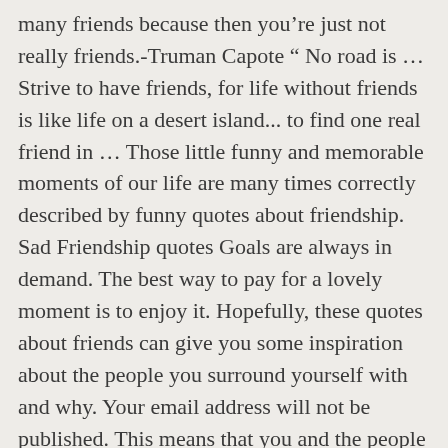many friends because then you're just not really friends.-Truman Capote вЂњ No road is вЂ¦ Strive to have friends, for life without friends is like life on a desert island... to find one real friend in вЂ¦ Those little funny and memorable moments of our life are many times correctly described by funny quotes about friendship. Sad Friendship quotes Goals are always in demand. The best way to pay for a lovely moment is to enjoy it. Hopefully, these quotes about friends can give you some inspiration about the people you surround yourself with and why. Your email address will not be published. This means that you and the people you usually go along with having the same goals, attitude, and aspirations in life.. Thus friendship in disguised form is the name of sympathy, empathy, honesty, altruism, mutual understanding, and compassion. We hope you loved these Famous Quotes About Friendship and quotes about friendship goals. You don't always see them, but you